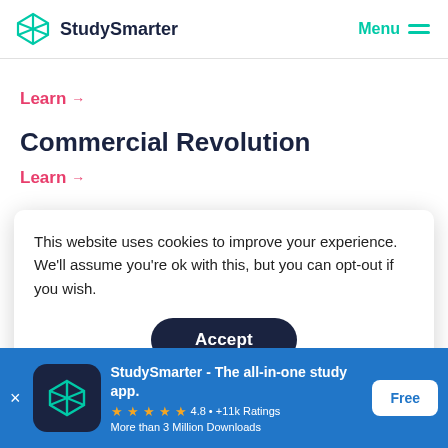StudySmarter | Menu
Learn →
Commercial Revolution
Learn →
This website uses cookies to improve your experience. We'll assume you're ok with this, but you can opt-out if you wish.
Accept
From Empire to Nation State
StudySmarter - The all-in-one study app. ★★★★★ 4.8 • +11k Ratings More than 3 Million Downloads Free